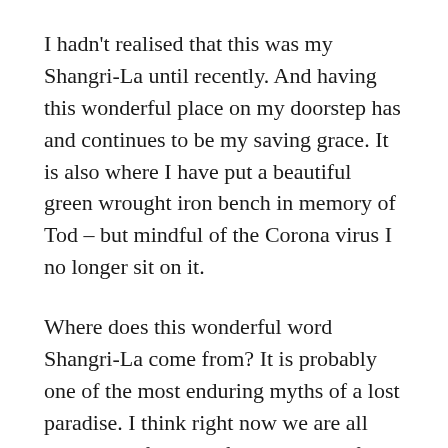I hadn't realised that this was my Shangri-La until recently. And having this wonderful place on my doorstep has and continues to be my saving grace. It is also where I have put a beautiful green wrought iron bench in memory of Tod – but mindful of the Corona virus I no longer sit on it.
Where does this wonderful word Shangri-La come from? It is probably one of the most enduring myths of a lost paradise. I think right now we are all drawn to a fantasy of a paradise, safe from the ravages of this horrible virus where we could all live in harmony with nature, and where the wisdom of the planet is saved from destructive elements.